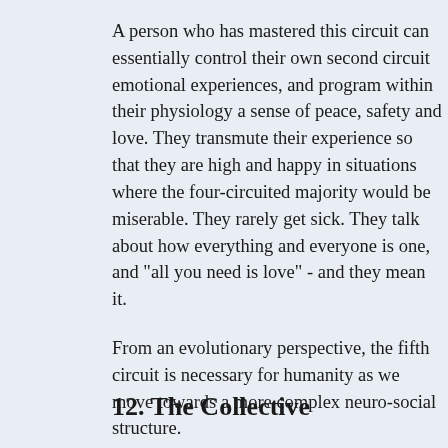A person who has mastered this circuit can essentially control their own second circuit emotional experiences, and program within their physiology a sense of peace, safety and love. They transmute their experience so that they are high and happy in situations where the four-circuited majority would be miserable. They rarely get sick. They talk about how everything and everyone is one, and "all you need is love" - and they mean it.
From an evolutionary perspective, the fifth circuit is necessary for humanity as we move towards a more complex neuro-social structure.
12. The Collective